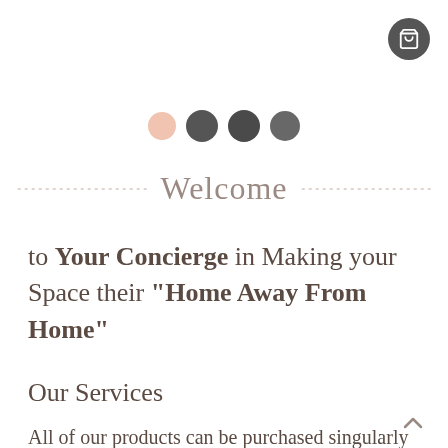[Figure (illustration): Shopping cart icon button (dark circular button, top right)]
[Figure (illustration): Four dots in a row: one peach/light color and three dark gray, used as a decorative/navigation indicator]
Welcome
to Your Concierge in Making your Space their "Home Away From Home"
Our Services
All of our products can be purchased singularly or with a recurring subscription